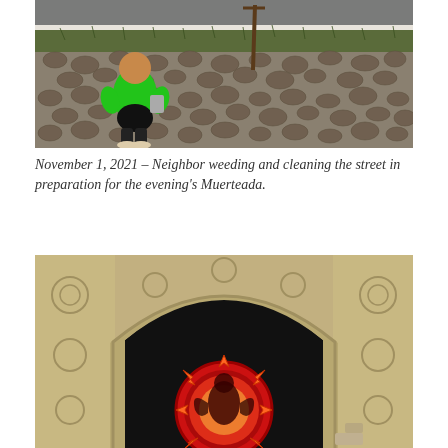[Figure (photo): Overhead view of a person in a bright green shirt and black shorts, wearing sandals, walking on a cobblestone street. A rake or hoe leans against a white wall. There are weeds along the edge between the wall and the cobblestones.]
November 1, 2021 – Neighbor weeding and cleaning the street in preparation for the evening's Muerteada.
[Figure (photo): An ornate stone archway with carved floral and decorative reliefs, revealing a dark interior through a large rounded arch. In front of the archway is a circular floral arrangement made of red flowers with orange accent pieces, depicting figures, glowing with internal lighting.]